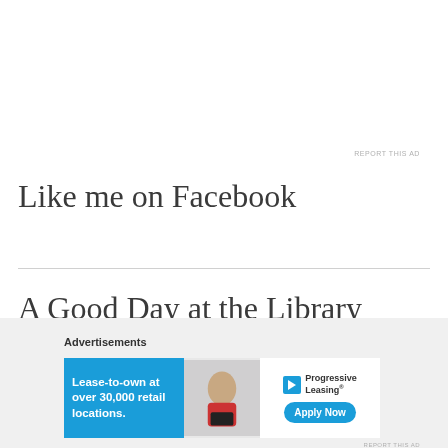REPORT THIS AD
Like me on Facebook
A Good Day at the Library
[Figure (infographic): Advertisement banner for Progressive Leasing: 'Lease-to-own at over 30,000 retail locations.' with Apply Now button and Progressive Leasing logo, alongside image of a person with a gaming device.]
Advertisements
REPORT THIS AD